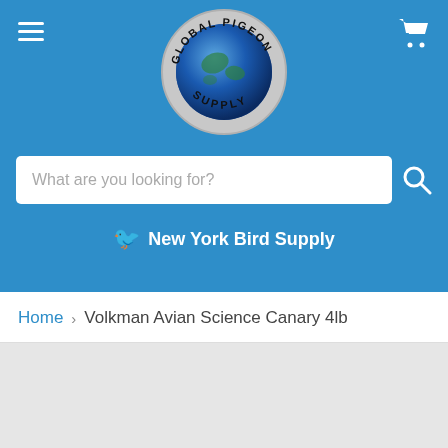Global Pigeon Supply - New York Bird Supply
What are you looking for?
New York Bird Supply
Home > Volkman Avian Science Canary 4lb